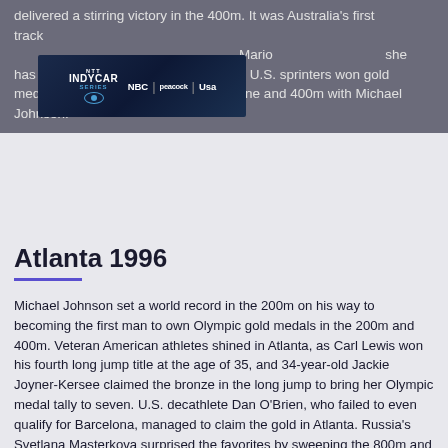delivered a stirring victory in the 400m. It was Australia's first track ... Marion ... she has since been stripped of her medals. U.S. sprinters won gold medals in the 100m with Maurice Greene and 400m with Michael Johnson.
[Figure (other): NTT IndyCar Series advertisement banner featuring NBC, Peacock, and USA Network logos]
Atlanta 1996
Michael Johnson set a world record in the 200m on his way to becoming the first man to own Olympic gold medals in the 200m and 400m. Veteran American athletes shined in Atlanta, as Carl Lewis won his fourth long jump title at the age of 35, and 34-year-old Jackie Joyner-Kersee claimed the bronze in the long jump to bring her Olympic medal tally to seven. U.S. decathlete Dan O'Brien, who failed to even qualify for Barcelona, managed to claim the gold in Atlanta. Russia's Svetlana Masterkova surprised the favorites by sweeping the 800m and 1500m.